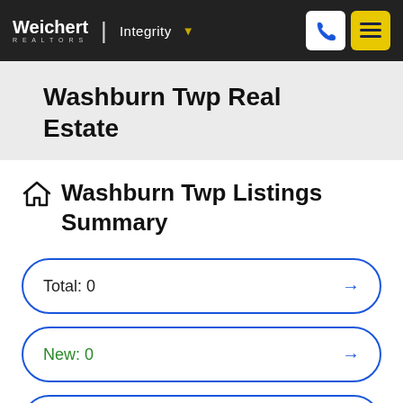Weichert | Integrity
Washburn Twp Real Estate
Washburn Twp Listings Summary
Total: 0
New: 0
Reduced: 0